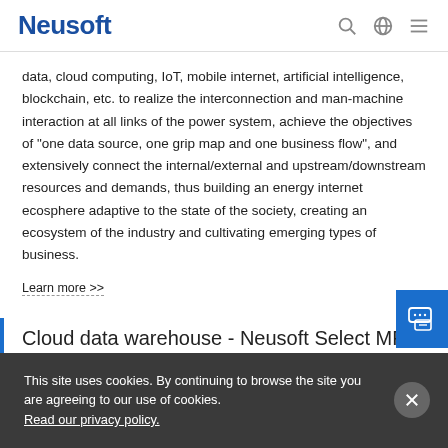Neusoft
data, cloud computing, IoT, mobile internet, artificial intelligence, blockchain, etc. to realize the interconnection and man-machine interaction at all links of the power system, achieve the objectives of “one data source, one grip map and one business flow”, and extensively connect the internal/external and upstream/downstream resources and demands, thus building an energy internet ecosphere adaptive to the state of the society, creating an ecosystem of the industry and cultivating emerging types of business.
Learn more >>
Cloud data warehouse - Neusoft Select MPP
This site uses cookies. By continuing to browse the site you are agreeing to our use of cookies. Read our privacy policy.